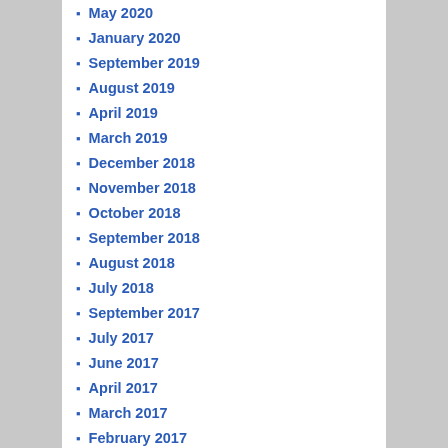May 2020
January 2020
September 2019
August 2019
April 2019
March 2019
December 2018
November 2018
October 2018
September 2018
August 2018
July 2018
September 2017
July 2017
June 2017
April 2017
March 2017
February 2017
January 2017
August 2016
June 2016
March 2016